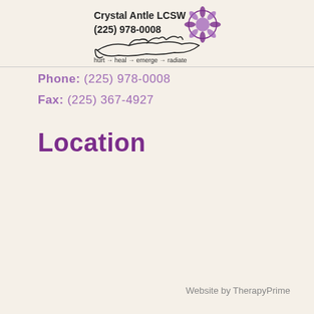Crystal Antle LCSW (225) 978-0008 hurt → heal → emerge → radiate
Phone: (225) 978-0008
Fax: (225) 367-4927
Location
Website by TherapyPrime